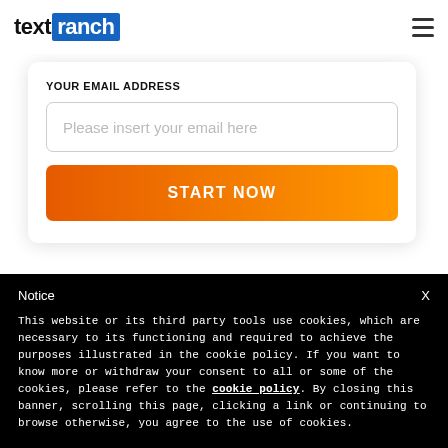[Figure (logo): TextRanch logo with 'text' in black bold and 'ranch' in white on blue background, plus hamburger menu icon]
YOUR EMAIL ADDRESS
Please insert your email here
START NOW
Notice
This website or its third party tools use cookies, which are necessary to its functioning and required to achieve the purposes illustrated in the cookie policy. If you want to know more or withdraw your consent to all or some of the cookies, please refer to the cookie policy. By closing this banner, scrolling this page, clicking a link or continuing to browse otherwise, you agree to the use of cookies.